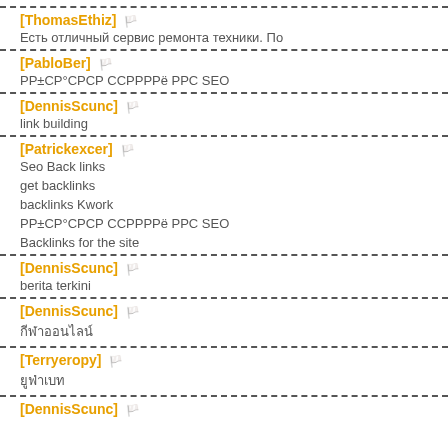https://www.boca888.com/">보카 카지노
[ThamasEthiz] 🏳️
Есть отличный сервис ремонта техники. По
[PabloBer] 🏳️
РР±СР°СРСР ССРРРРё РРС SEO
[DennisScunc] 🏳️
link building
[Patrickexcer] 🏳️
Seo Back links
get backlinks
backlinks Kwork
РР±СР°СРСР ССРРРРё РРС SEO
Backlinks for the site
[DennisScunc] 🏳️
berita terkini
[DennisScunc] 🏳️
กีฬาออนไลน์
[Terryeropy] 🏳️
ยูฟ่าเบท
[DennisScunc] 🏳️